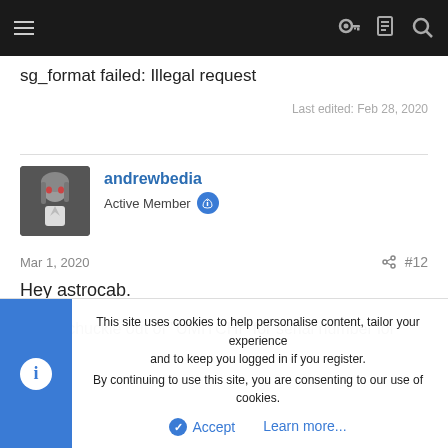Navigation bar with hamburger menu, key icon, document icon, and search icon
sg_format failed: Illegal request
Last edited: Feb 28, 2020
andrewbedia
Active Member
Mar 1, 2020  #12
Hey astrocab.
Had a chuckle out of "UMITCHI" for serial number lol
This site uses cookies to help personalise content, tailor your experience and to keep you logged in if you register.
By continuing to use this site, you are consenting to our use of cookies.
Accept   Learn more...